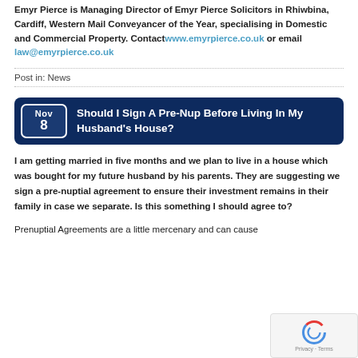Emyr Pierce is Managing Director of Emyr Pierce Solicitors in Rhiwbina, Cardiff, Western Mail Conveyancer of the Year, specialising in Domestic and Commercial Property. Contact www.emyrpierce.co.uk or email law@emyrpierce.co.uk
Post in: News
Should I Sign A Pre-Nup Before Living In My Husband's House?
I am getting married in five months and we plan to live in a house which was bought for my future husband by his parents.  They are suggesting we sign a pre-nuptial agreement to ensure their investment remains in their family in case we separate.  Is this something I should agree to?
Prenuptial Agreements are a little mercenary and can cause